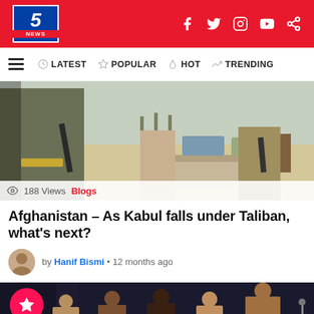5 NEWS
LATEST  POPULAR  HOT  TRENDING
[Figure (photo): Armed Taliban fighters standing at a checkpoint in Kabul, with vehicles and people in the background on a city street.]
188 Views  Blogs
Afghanistan – As Kabul falls under Taliban, what's next?
by Hanif Bismi • 12 months ago
[Figure (photo): Group of men in suits at what appears to be an official or conference event, with a pink star bookmark button overlay in the bottom-left corner.]